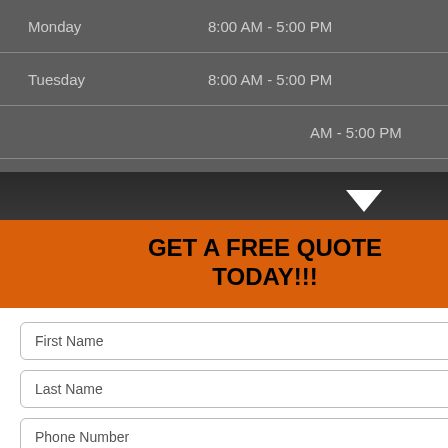| Day | Hours |
| --- | --- |
| Monday | 8:00 AM - 5:00 PM |
| Tuesday | 8:00 AM - 5:00 PM |
|  | AM - 5:00 PM |
|  | AM - 5:00 PM |
|  | AM - 5:00 PM |
|  | d |
|  | d |
GET A FREE QUOTE TODAY!!!
First Name
Last Name
Phone Number
Email
SUBMIT
VOID WHERE PROHIBITED.
TIONS